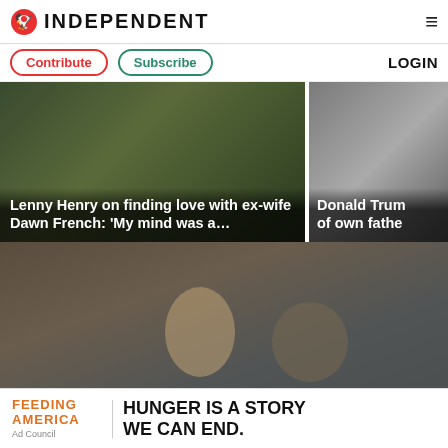INDEPENDENT
Contribute   Subscribe   LOGIN
[Figure (photo): Article thumbnail: Lenny Henry on finding love with ex-wife Dawn French: 'My mind was a...']
[Figure (photo): Article thumbnail: Donald Trump ... of own fathe...]
[Figure (photo): Two young women eating ice cream in front of graffiti wall]
[Figure (photo): Feeding America advertisement banner: HUNGER IS A STORY WE CAN END.]